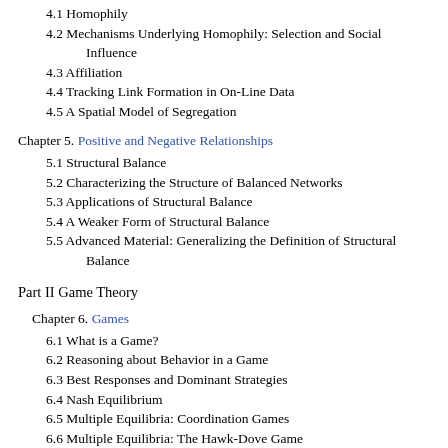4.1 Homophily
4.2 Mechanisms Underlying Homophily: Selection and Social Influence
4.3 Affiliation
4.4 Tracking Link Formation in On-Line Data
4.5 A Spatial Model of Segregation
Chapter 5. Positive and Negative Relationships
5.1 Structural Balance
5.2 Characterizing the Structure of Balanced Networks
5.3 Applications of Structural Balance
5.4 A Weaker Form of Structural Balance
5.5 Advanced Material: Generalizing the Definition of Structural Balance
Part II Game Theory
Chapter 6. Games
6.1 What is a Game?
6.2 Reasoning about Behavior in a Game
6.3 Best Responses and Dominant Strategies
6.4 Nash Equilibrium
6.5 Multiple Equilibria: Coordination Games
6.6 Multiple Equilibria: The Hawk-Dove Game
6.7 Mixed Strategies
6.8 Mixed Strategies: Examples and Empirical Analysis
6.9 Pareto-Optimality and Social Optimality
6.10 Advanced Material: Dominated Strategies and Dominated C...